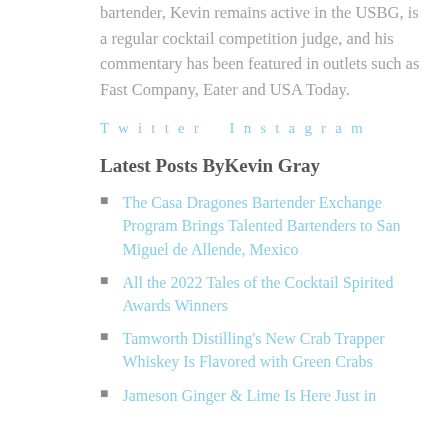bartender, Kevin remains active in the USBG, is a regular cocktail competition judge, and his commentary has been featured in outlets such as Fast Company, Eater and USA Today.
Twitter    Instagram
Latest Posts ByKevin Gray
The Casa Dragones Bartender Exchange Program Brings Talented Bartenders to San Miguel de Allende, Mexico
All the 2022 Tales of the Cocktail Spirited Awards Winners
Tamworth Distilling's New Crab Trapper Whiskey Is Flavored with Green Crabs
Jameson Ginger & Lime Is Here Just in